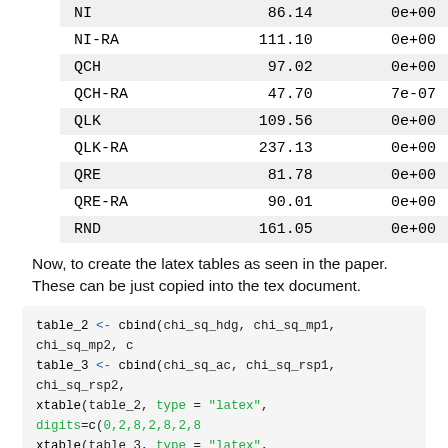| NI | 86.14 | 0e+00 |
| NI-RA | 111.10 | 0e+00 |
| QCH | 97.02 | 0e+00 |
| QCH-RA | 47.70 | 7e-07 |
| QLK | 109.56 | 0e+00 |
| QLK-RA | 237.13 | 0e+00 |
| QRE | 81.78 | 0e+00 |
| QRE-RA | 90.01 | 0e+00 |
| RND | 161.05 | 0e+00 |
Now, to create the latex tables as seen in the paper. These can be just copied into the tex document.
table_2 <- cbind(chi_sq_hdg, chi_sq_mp1, chi_sq_mp2, c
table_3 <- cbind(chi_sq_ac, chi_sq_rsp1, chi_sq_rsp2,
xtable(table_2, type = "latex", digits=c(0,2,8,2,8,2,8
xtable(table_3, type = "latex", digits=c(0,2,8,2,8,2,8
Data and theory predictions